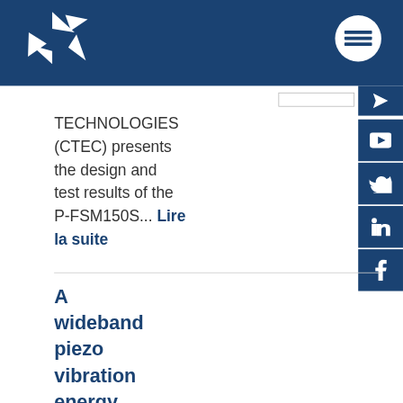[Figure (logo): White geometric logo (circle with triangles) on dark blue header background]
[Figure (other): White circle with three horizontal lines (menu icon) on dark blue header background]
TECHNOLOGIES (CTEC) presents the design and test results of the P-FSM150S... Lire la suite
[Figure (other): Social media sidebar icons: paper plane (share), YouTube, Twitter, LinkedIn, Facebook — all white on dark blue]
A wideband piezo vibration energy harvester